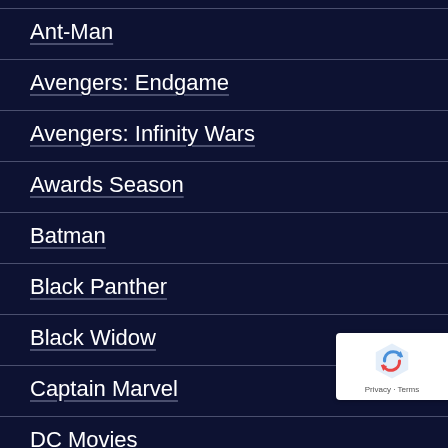Ant-Man
Avengers: Endgame
Avengers: Infinity Wars
Awards Season
Batman
Black Panther
Black Widow
Captain Marvel
DC Movies
Disney Animation
Disney Plus
[Figure (logo): reCAPTCHA badge with recycling-arrow icon and Privacy · Terms text]